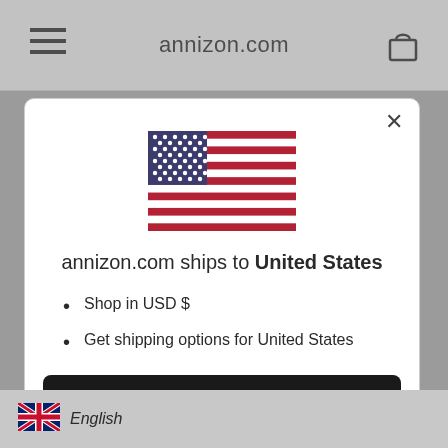annizon.com
[Figure (illustration): US flag SVG illustration inside modal dialog]
annizon.com ships to United States
Shop in USD $
Get shipping options for United States
Shop now
Change shipping country
English